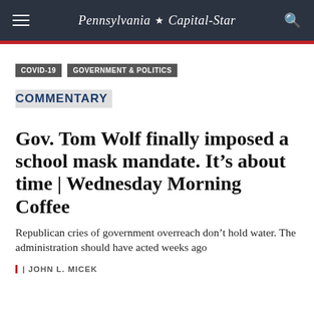Pennsylvania Capital-Star
COVID-19
GOVERNMENT & POLITICS
COMMENTARY
Gov. Tom Wolf finally imposed a school mask mandate. It’s about time | Wednesday Morning Coffee
Republican cries of government overreach don’t hold water. The administration should have acted weeks ago
JOHN L. MICEK